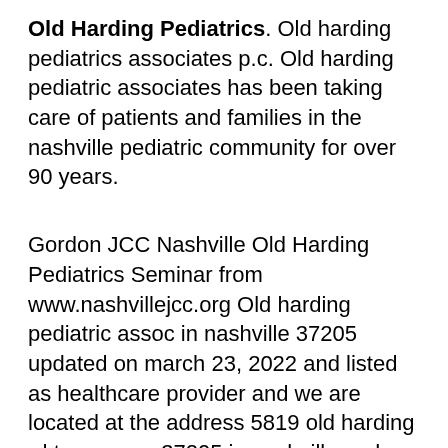Old Harding Pediatrics. Old harding pediatrics associates p.c. Old harding pediatric associates has been taking care of patients and families in the nashville pediatric community for over 90 years.
Gordon JCC Nashville Old Harding Pediatrics Seminar from www.nashvillejcc.org Old harding pediatric assoc in nashville 37205 updated on march 23, 2022 and listed as healthcare provider and we are located at the address 5819 old harding rd tennessee 37205 in nashville and you can contact us via email or phone (615)3522990, click here to get hours, ratings and advice from old harding pediatric assoc and health professionals in nashville. Old harding